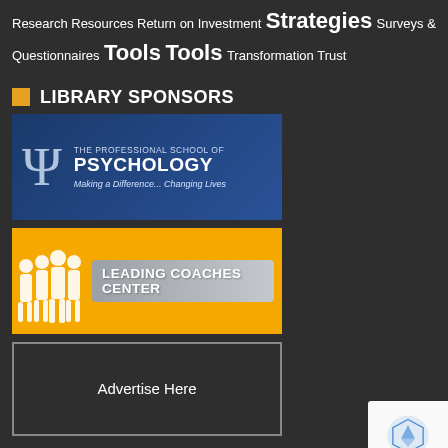Research Resources Return on Investment Strategies Surveys & Questionnaires Tools Tools Transformation Trust
LIBRARY SPONSORS
[Figure (logo): The Professional School of Psychology banner - blue background with psi symbol and text 'Making a Difference... Changing Lives']
[Figure (logo): Leading Coaches Center banner - orange/yellow background with silhouette figures and text 'LEADING COACHES CENTER']
[Figure (other): Advertise Here placeholder box with grey border]
ADDITIONAL SPONSORS